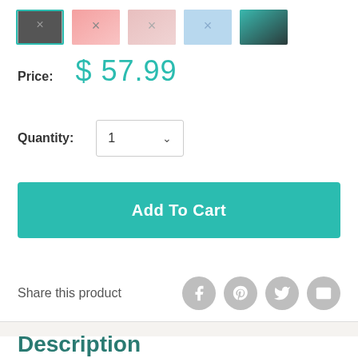[Figure (photo): Row of 5 product thumbnail images of bras/lingerie in various colors: black (selected with teal border), pink/gradient, pink/light, blue, and dark/teal]
Price:  $ 57.99
Quantity:  1
Add To Cart
Share this product
Description